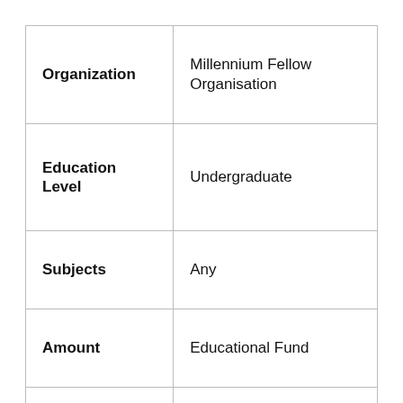| Field | Value |
| --- | --- |
| Organization | Millennium Fellow Organisation |
| Education Level | Undergraduate |
| Subjects | Any |
| Amount | Educational Fund |
| Access Mode | Online |
| Number of Awards | NA |
| - |  |